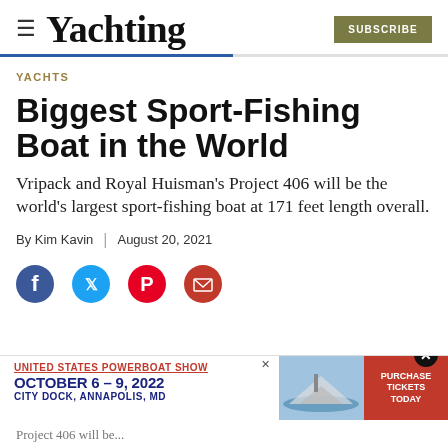≡ Yachting | SUBSCRIBE
YACHTS
Biggest Sport-Fishing Boat in the World
Vripack and Royal Huisman's Project 406 will be the world's largest sport-fishing boat at 171 feet length overall.
By Kim Kavin | August 20, 2021
[Figure (infographic): Social sharing icons: Facebook, Twitter, Pinterest, Email]
[Figure (infographic): Advertisement banner: United States Powerboat Show, October 6-9, 2022, City Dock, Annapolis, MD. Purchase Tickets Today.]
Project 406 will be...